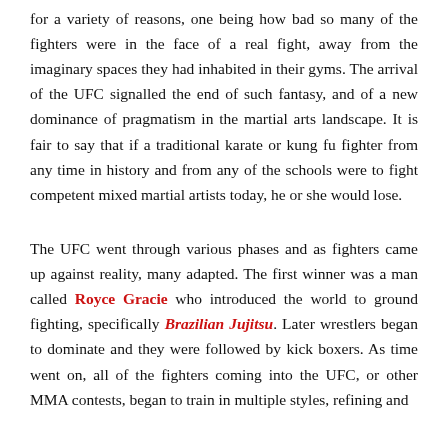for a variety of reasons, one being how bad so many of the fighters were in the face of a real fight, away from the imaginary spaces they had inhabited in their gyms. The arrival of the UFC signalled the end of such fantasy, and of a new dominance of pragmatism in the martial arts landscape. It is fair to say that if a traditional karate or kung fu fighter from any time in history and from any of the schools were to fight competent mixed martial artists today, he or she would lose.
The UFC went through various phases and as fighters came up against reality, many adapted. The first winner was a man called Royce Gracie who introduced the world to ground fighting, specifically Brazilian Jujitsu. Later wrestlers began to dominate and they were followed by kick boxers. As time went on, all of the fighters coming into the UFC, or other MMA contests, began to train in multiple styles, refining and